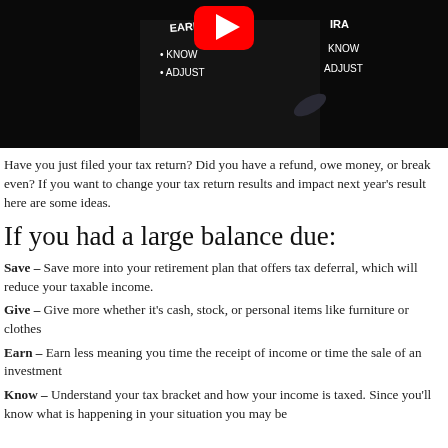[Figure (photo): Screenshot of a YouTube video thumbnail showing a person in a dark suit writing on a blackboard/glass with handwritten text: EARN, KNOW, ADJUST on the left side and IRA, KNOW, ADJUST on the right side. A YouTube play button logo is visible in the center top.]
Have you just filed your tax return?  Did you have a refund, owe money, or break even?  If you want to change your tax return results and impact next year's result here are some ideas.
If you had a large balance due:
Save – Save more into your retirement plan that offers tax deferral, which will reduce your taxable income.
Give – Give more whether it's cash, stock, or personal items like furniture or clothes
Earn – Earn less meaning you time the receipt of income or time the sale of an investment
Know – Understand your tax bracket and how your income is taxed. Since you'll know what is happening in your situation you may be